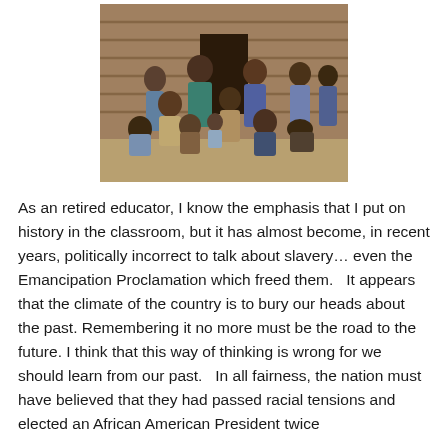[Figure (photo): Historical colorized photograph of a large group of African Americans, men, women, and children, posing in front of a wooden log cabin structure. They are dressed in various colored garments including blue, green, and brown. The group is arranged with some sitting on the ground, some seated on steps, and some standing.]
As an retired educator, I know the emphasis that I put on history in the classroom, but it has almost become, in recent years, politically incorrect to talk about slavery… even the Emancipation Proclamation which freed them.   It appears that the climate of the country is to bury our heads about the past. Remembering it no more must be the road to the future. I think that this way of thinking is wrong for we should learn from our past.   In all fairness, the nation must have believed that they had passed racial tensions and elected an African American President twice